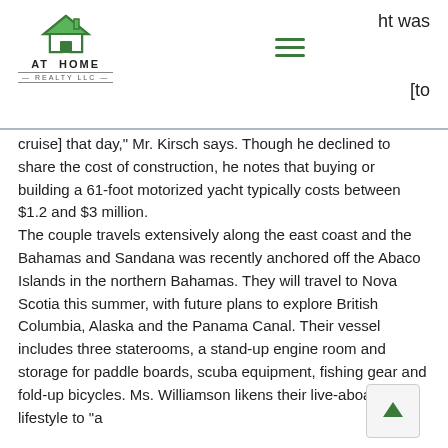AT HOME REALTY LLC
ht was
[to cruise] that day," Mr. Kirsch says. Though he declined to share the cost of construction, he notes that buying or building a 61-foot motorized yacht typically costs between $1.2 and $3 million.
The couple travels extensively along the east coast and the Bahamas and Sandana was recently anchored off the Abaco Islands in the northern Bahamas. They will travel to Nova Scotia this summer, with future plans to explore British Columbia, Alaska and the Panama Canal. Their vessel includes three staterooms, a stand-up engine room and storage for paddle boards, scuba equipment, fishing gear and fold-up bicycles. Ms. Williamson likens their live-aboard lifestyle to "a